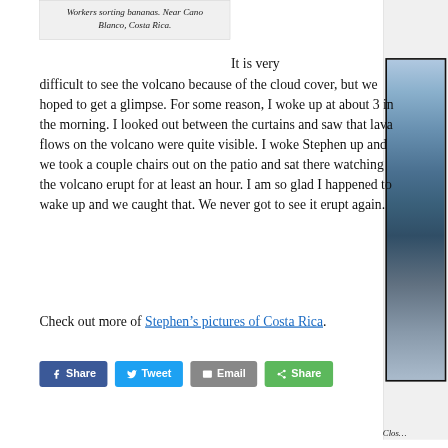Workers sorting bananas. Near Cano Blanco, Costa Rica.
It is very difficult to see the volcano because of the cloud cover, but we hoped to get a glimpse. For some reason, I woke up at about 3 in the morning. I looked out between the curtains and saw that lava flows on the volcano were quite visible. I woke Stephen up and we took a couple chairs out on the patio and sat there watching the volcano erupt for at least an hour. I am so glad I happened to wake up and we caught that. We never got to see it erupt again.
Check out more of Stephen’s pictures of Costa Rica.
[Figure (photo): Partial view of a mountain/volcano photograph in a right-side panel, labeled 'Clos...']
Clos…